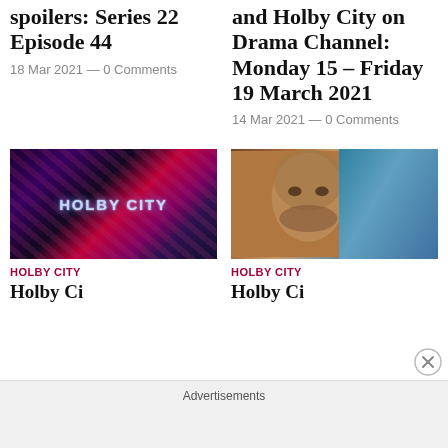spoilers: Series 22 Episode 44
18 Mar 2021 — 0 Comments
and Holby City on Drama Channel: Monday 15 – Friday 19 March 2021
14 Mar 2021 — 0 Comments
[Figure (photo): Holby City logo title card with bright red and purple light streaks on dark background, text reads HOLBY CITY]
HOLBY CITY
Holby Ci...
[Figure (photo): Two people in a hospital setting: a young man with stubble looking serious on the left, and a woman with red hair wearing blue scrubs on the right]
HOLBY CITY
Holby Ci...
Advertisements